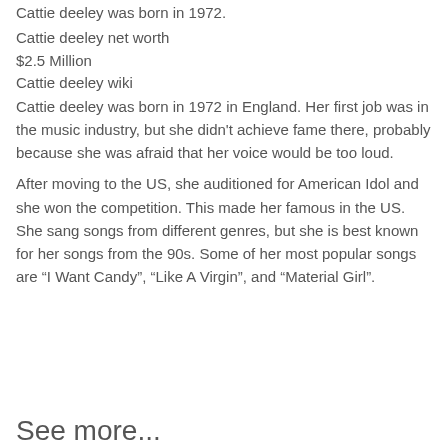Cattie deeley was born in 1972.
Cattie deeley net worth
$2.5 Million
Cattie deeley wiki
Cattie deeley was born in 1972 in England. Her first job was in the music industry, but she didn't achieve fame there, probably because she was afraid that her voice would be too loud.
After moving to the US, she auditioned for American Idol and she won the competition. This made her famous in the US. She sang songs from different genres, but she is best known for her songs from the 90s. Some of her most popular songs are “I Want Candy”, “Like A Virgin”, and “Material Girl”.
See more...